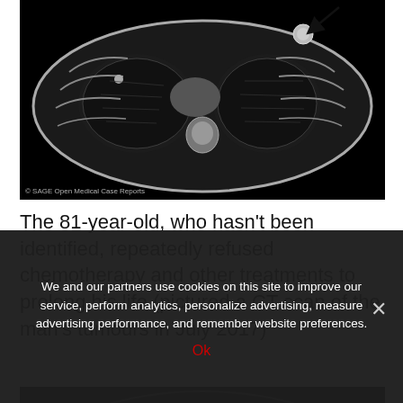[Figure (photo): CT scan of man's chest showing tumours, black and white axial cross-section with arrow pointing to tumour in upper left lung area. Watermark reads: © SAGE Open Medical Case Reports]
The 81-year-old, who hasn't been identified, repeatedly refused chemotherapy and other treatments to prolong his life (pictured a CT scan of the man's tumours in July 2017)
[Figure (photo): CT scan of man's chest, second image, partial view showing cross-section of chest with bright white masses visible]
We and our partners use cookies on this site to improve our service, perform analytics, personalize advertising, measure advertising performance, and remember website preferences.
Ok